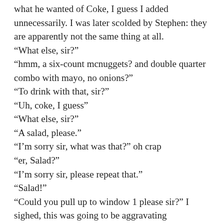what he wanted  of Coke, I guess  I added unnecessarily. I was later scolded by Stephen: they are apparently not the same thing at all.
“What else, sir?”
“hmm, a six-count mcnuggets? and double quarter combo with mayo, no onions?”
“To drink with that, sir?”
“Uh, coke, I guess”
“What else, sir?”
“A salad, please.”
“I’m sorry sir, what was that?” oh crap
“er, Salad?”
“I’m sorry sir, please repeat that.”
“Salad!”
“Could you pull up to window 1 please sir?” I sighed, this was going to be aggravating
I pulled up and this young man looked at me with mild concern.